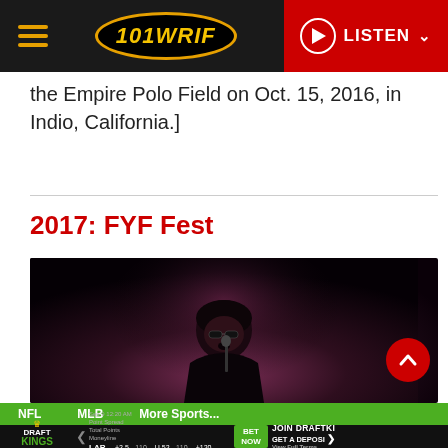101 WRIF — LISTEN
the Empire Polo Field on Oct. 15, 2016, in Indio, California.]
2017: FYF Fest
[Figure (photo): A performer wearing sunglasses singing on a dark stage, lit with purple/red stage lighting]
NFL   MLB   More Sports...
DraftKings Sportsbook — Sep 9 12:20 AM — LAR +2.5 -110, BUF -2.5 -110 — Total Points U 52 -110 / O 52 -110 — Moneyline +120 / -140 — BET NOW — JOIN DRAFTKINGS GET A DEPOSIT View Full Terms